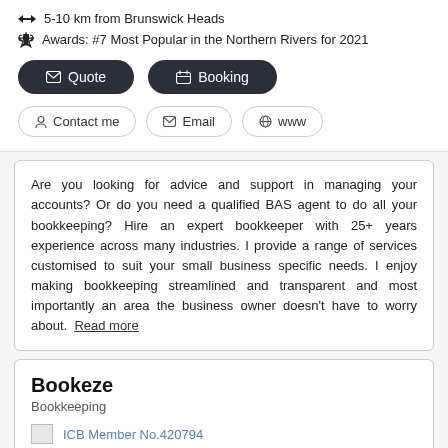5-10 km from Brunswick Heads
Awards: #7 Most Popular in the Northern Rivers for 2021
Quote | Booking | Contact me | Email | www
Are you looking for advice and support in managing your accounts? Or do you need a qualified BAS agent to do all your bookkeeping? Hire an expert bookkeeper with 25+ years experience across many industries. I provide a range of services customised to suit your small business specific needs. I enjoy making bookkeeping streamlined and transparent and most importantly an area the business owner doesn't have to worry about. Read more
Bookeze
Bookkeeping
ICB Member No.420794